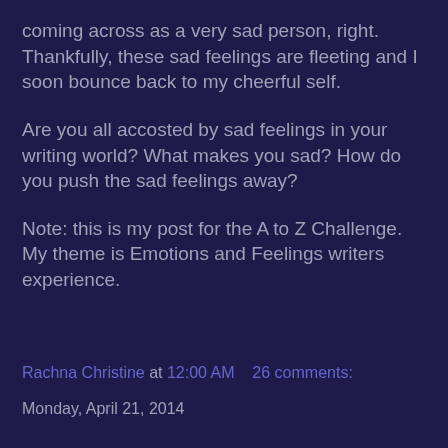coming across as a very sad person, right. Thankfully, these sad feelings are fleeting and I soon bounce back to my cheerful self.
Are you all accosted by sad feelings in your writing world? What makes you sad? How do you push the sad feelings away?
Note: this is my post for the A to Z Challenge. My theme is Emotions and Feelings writers experience.
Rachna Christine at 12:00 AM    26 comments:
Monday, April 21, 2014